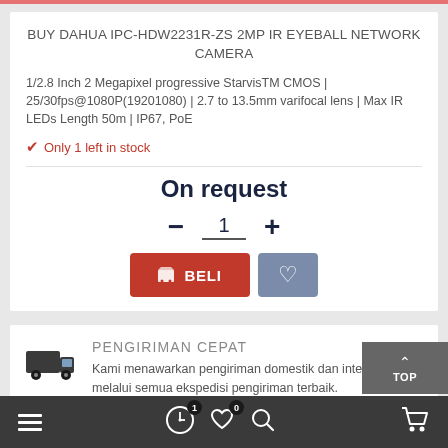BUY DAHUA IPC-HDW2231R-ZS 2MP IR EYEBALL NETWORK CAMERA
1/2.8 Inch 2 Megapixel progressive StarvisTM CMOS | 25/30fps@1080P(19201080) | 2.7 to 13.5mm varifocal lens | Max IR LEDs Length 50m | IP67, PoE
Only 1 left in stock
On request
1
BELI
PENGIRIMAN CEPAT
Kami menawarkan pengiriman domestik dan internasional melalui semua ekspedisi pengiriman terbaik.